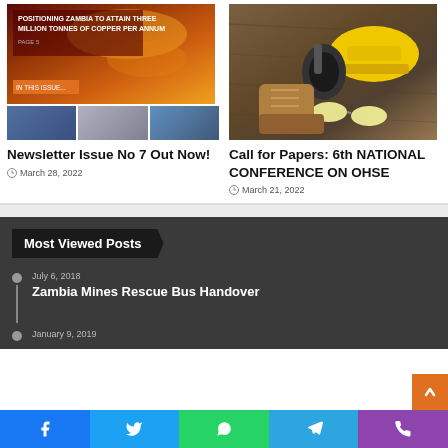[Figure (photo): Newsletter cover image with copper mining theme and red/orange background with text 'Positioning Zambia to Attain Three Million Tonnes of Copper Per Annum']
[Figure (photo): Three small thumbnail images side by side below newsletter cover]
Newsletter Issue No 7 Out Now!
March 28, 2022
[Figure (photo): Safety equipment including yellow hard hat, ear muffs, boots and safety glasses on wooden background]
Call for Papers: 6th NATIONAL CONFERENCE ON OHSE
March 21, 2022
Most Viewed Posts
July 6, 2018
Zambia Mines Rescue Bus Handover
January 9, 2019